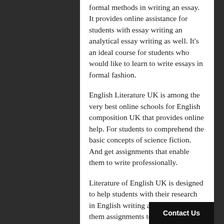formal methods in writing an essay. It provides online assistance for students with essay writing an analytical essay writing as well. It's an ideal course for students who would like to learn to write essays in formal fashion.
English Literature UK is among the very best online schools for English composition UK that provides online help. For students to comprehend the basic concepts of science fiction. And get assignments that enable them to write professionally.
Literature of English UK is designed to help students with their research in English writing and also give them assignments to write in various forms. They have online chat sessions and tutorials to assist students in different formats. For students that are lo online tutoring and are unable to
Contact Us